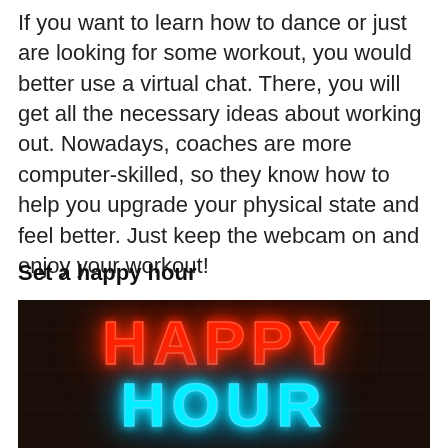If you want to learn how to dance or just are looking for some workout, you would better use a virtual chat. There, you will get all the necessary ideas about working out. Nowadays, coaches are more computer-skilled, so they know how to help you upgrade your physical state and feel better. Just keep the webcam on and enjoy your workout!
Set a happy hour
[Figure (photo): Neon sign on a dark brick wall background. The word HAPPY is displayed in red neon letters on top, and HOUR is displayed in cyan/blue neon letters below.]